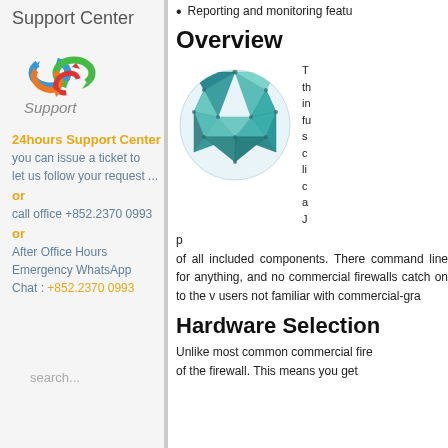Reporting and monitoring featu
Support Center
[Figure (logo): Support Center logo with circular arrows in blue, green, orange, red colors, and text 'Support' beneath]
24hours Support Center
you can issue a ticket to let us follow your request ...
or
call office +852.2370 0993
or
After Office Hours Emergency WhatsApp Chat : +852.2370 0993
search...
Overview
[Figure (illustration): A teal/turquoise geometric low-poly sphere shape]
of all included components. There command line for anything, and no commercial firewalls catch on to the v users not familiar with commercial-gra
Hardware Selection
Unlike most most common commercial fire of the firewall. This means you get